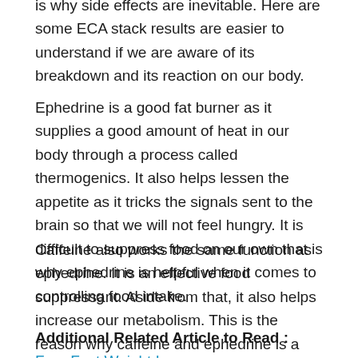is why side effects are inevitable. Here are some ECA stack results are easier to understand if we are aware of its breakdown and its reaction on our body.
Ephedrine is a good fat burner as it supplies a good amount of heat in our body through a process called thermogenics. It also helps lessen the appetite as it tricks the signals sent to the brain so that we will not feel hungry. It is difficult to suppress food on our own that is why ephedrine is helpful when it comes to controlling food intake.
Caffeine also works the same function as ephedrine. It is an effective food suppressant. Aside from that, it also helps increase our metabolism. This is the reason why caffeine and ephedrine is a powerful combination when it comes to fat burning.
Additional Related Article to Read : Free Fast Weight Loss